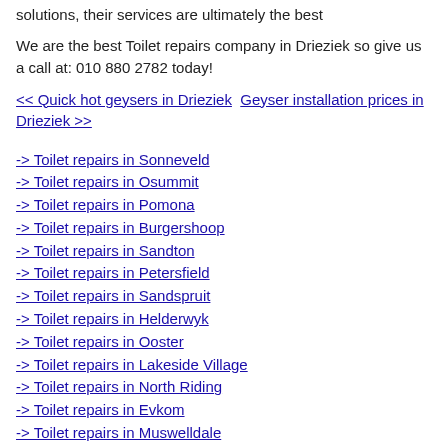solutions, their services are ultimately the best
We are the best Toilet repairs company in Drieziek so give us a call at: 010 880 2782 today!
<< Quick hot geysers in Drieziek   Geyser installation prices in Drieziek >>
-> Toilet repairs in Sonneveld
-> Toilet repairs in Osummit
-> Toilet repairs in Pomona
-> Toilet repairs in Burgershoop
-> Toilet repairs in Sandton
-> Toilet repairs in Petersfield
-> Toilet repairs in Sandspruit
-> Toilet repairs in Helderwyk
-> Toilet repairs in Ooster
-> Toilet repairs in Lakeside Village
-> Toilet repairs in North Riding
-> Toilet repairs in Evkom
-> Toilet repairs in Muswelldale
-> Toilet repairs in Klipfontein
-> Toilet repairs in Kimbult
-> Toilet repairs in Bryanbrink
-> Toilet repairs in Paardeplaats
-> Toilet repairs in Rusloo
-> Toilet repairs in Rua Vista
-> Toilet repairs in Vanderbijlpark